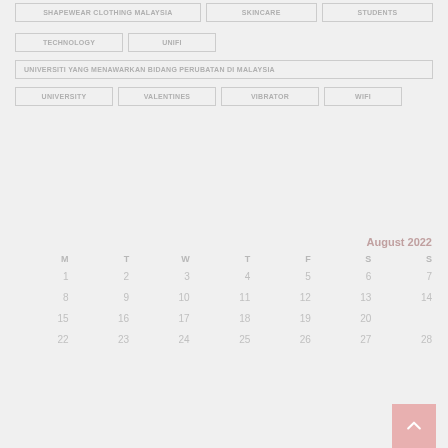SHAPEWEAR CLOTHING MALAYSIA
SKINCARE
STUDENTS
TECHNOLOGY
UNIFI
UNIVERSITI YANG MENAWARKAN BIDANG PERUBATAN DI MALAYSIA
UNIVERSITY
VALENTINES
VIBRATOR
WIFI
|  | M | T | W | T | F | S | S |
| --- | --- | --- | --- | --- | --- | --- | --- |
| August 2022 |  |  |  |  |  |  |  |
|  | 1 | 2 | 3 | 4 | 5 | 6 | 7 |
|  | 8 | 9 | 10 | 11 | 12 | 13 | 14 |
|  | 15 | 16 | 17 | 18 | 19 | 20 |  |
|  | 22 | 23 | 24 | 25 | 26 | 27 | 28 |